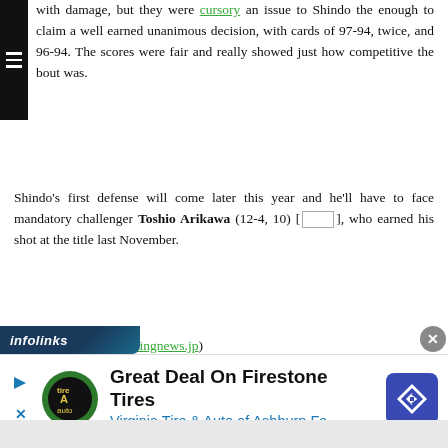with damage, but they were cursory an issue to Shindo the enough to claim a well earned unanimous decision, with cards of 97-94, twice, and 96-94. The scores were fair and really showed just how competitive the bout was.
Shindo's first defense will come later this year and he'll have to face mandatory challenger Toshio Arikawa (12-4, 10) [ ], who earned his shot at the title last November.
(Image courtesy of boxingnews.jp)
[Figure (other): Facebook Like button (Like 2) and Twitter Tweet button]
0 Comments
[Figure (other): Infolinks advertisement bar with ad for Great Deal On Firestone Tires - Virginia Tire & Auto of Ashburn Fa..]